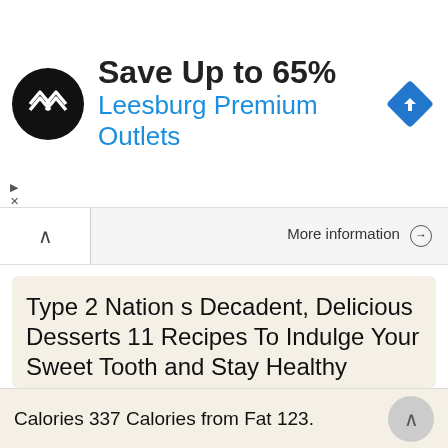[Figure (logo): Black circular logo with double arrow chevron symbol (Leesburg Premium Outlets brand icon)]
Save Up to 65%
Leesburg Premium Outlets
[Figure (illustration): Blue diamond-shaped navigation/map arrow icon]
▶
✕
More information →
Type 2 Nation s Decadent, Delicious Desserts 11 Recipes To Indulge Your Sweet Tooth and Stay Healthy
Type Nation s Decadent, Delicious Desserts 11 Recipes To Indulge Your Sweet Tooth and Stay Healthy Dear Type Nation subscriber, Eating well shouldn t mean doing without something sweet. Our team of dieticians
[Figure (photo): Thumbnail image of a dessert recipe book/ebook cover with yellow squares (dessert items) and a blue bar at the bottom]
More information →
Calories 337 Calories from Fat 123.